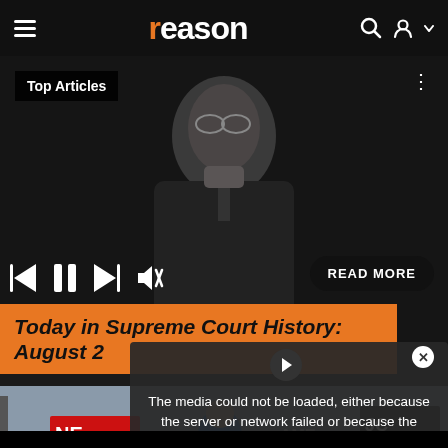reason
[Figure (screenshot): Website screenshot of Reason magazine showing a black and white photo of a judge in robes, media player controls, 'Top Articles' label, 'READ MORE' button, and a partial article title 'Today in Supreme Court History: August 2'. An error overlay reads 'The media could not be loaded, either because the server or network failed or because the format is not supported.' Below is a partially visible photo of a protest scene with people holding signs including 'AMERICAN!']